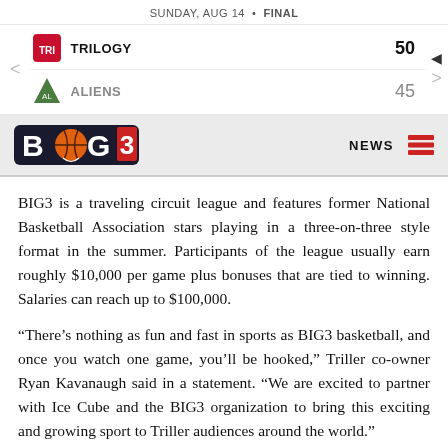SUNDAY, AUG 14 • FINAL
| Team | Score |
| --- | --- |
| TRILOGY | 50 |
| ALIENS | 45 |
[Figure (logo): BIG3 basketball league logo with navigation bar showing NEWS and hamburger menu]
BIG3 is a traveling circuit league and features former National Basketball Association stars playing in a three-on-three style format in the summer. Participants of the league usually earn roughly $10,000 per game plus bonuses that are tied to winning. Salaries can reach up to $100,000.
“There’s nothing as fun and fast in sports as BIG3 basketball, and once you watch one game, you’ll be hooked,” Triller co-owner Ryan Kavanaugh said in a statement. “We are excited to partner with Ice Cube and the BIG3 organization to bring this exciting and growing sport to Triller audiences around the world.”